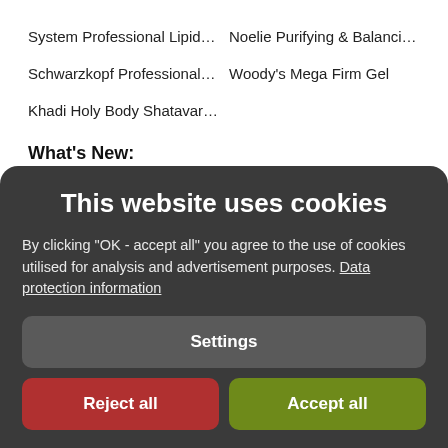System Professional LipidCo...
Noelie Purifying & Balancing ...
Schwarzkopf Professional Sil...
Woody's Mega Firm Gel
Khadi Holy Body Shatavari E...
What's New:
[Figure (screenshot): Cookie consent dialog with dark background. Title: 'This website uses cookies'. Body text: 'By clicking "OK - accept all" you agree to the use of cookies utilised for analysis and advertisement purposes. Data protection information'. Three buttons: Settings (gray), Reject all (red), Accept all (green).]